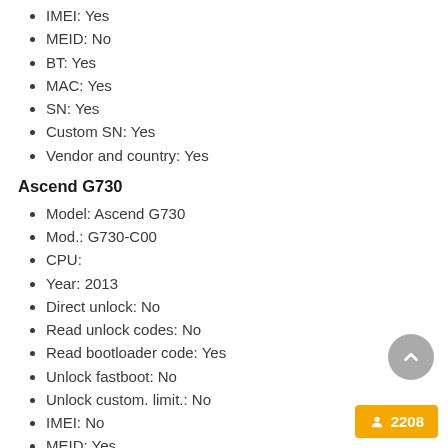IMEI: Yes
MEID: No
BT: Yes
MAC: Yes
SN: Yes
Custom SN: Yes
Vendor and country: Yes
Ascend G730
Model: Ascend G730
Mod.: G730-C00
CPU:
Year: 2013
Direct unlock: No
Read unlock codes: No
Read bootloader code: Yes
Unlock fastboot: No
Unlock custom. limit.: No
IMEI: No
MEID: Yes
BT: Yes
MAC: Yes
SN: Yes